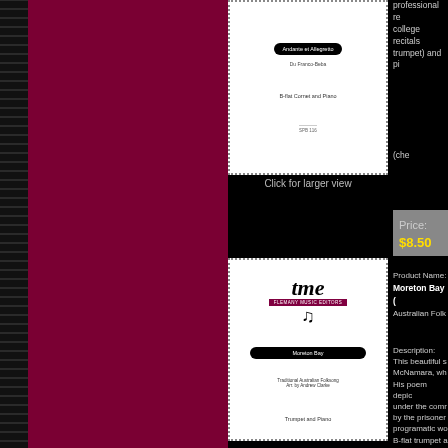[Figure (illustration): Book cover for 'Andante et Allegretto' for B-flat Cornet and Piano, white cover with dotted border]
Click for larger view
professional recitals, college recitals (trumpet) and pi...
(che...
Price: $8.50
Product Name:
Moreton Bay (Australian Folk...)
Description:
This beautiful s... McNamara, wh... His poem depic... under the comn... by the prisoner... programatic wo... B-flat trumpet a...
[Figure (illustration): Book cover for 'Moreton Bay' - Traditional Australian Folksong arr. by Andrew Clarke, for Trumpet and Piano, Flemany Music Editors logo]